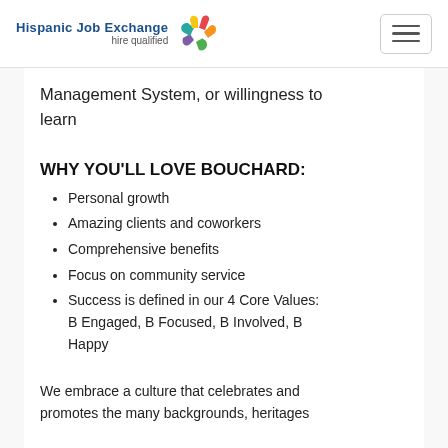Hispanic Job Exchange hire qualified
Management System, or willingness to learn
WHY YOU'LL LOVE BOUCHARD:
Personal growth
Amazing clients and coworkers
Comprehensive benefits
Focus on community service
Success is defined in our 4 Core Values: B Engaged, B Focused, B Involved, B Happy
We embrace a culture that celebrates and promotes the many backgrounds, heritages